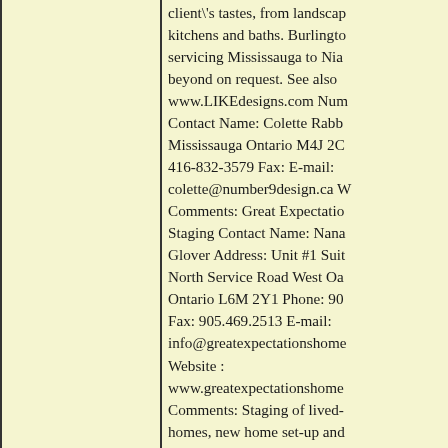client's tastes, from landscaping to kitchens and baths. Burlington based, servicing Mississauga to Niagara and beyond on request. See also www.LIKEdesigns.com Number: Contact Name: Colette Rabba Mississauga Ontario M4J 2C 416-832-3579 Fax: E-mail: colette@number9design.ca W Comments: Great Expectations Staging Contact Name: Nana Glover Address: Unit #1 Suite North Service Road West Oa Ontario L6M 2Y1 Phone: 90 Fax: 905.469.2513 E-mail: info@greatexpectationshome Website : www.greatexpectationshome Comments: Staging of lived-homes, new home set-up and one day redecorating and col consultations. J.E. Long Con Jacqueline E. Long Address: Marchmount Crescent Bramp L6S 2T2 Phone: 905-790-23